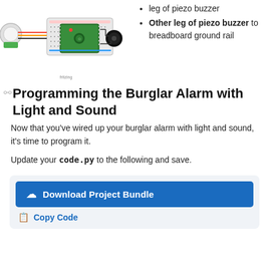[Figure (engineering-diagram): Wiring diagram showing a PIR motion sensor, Raspberry Pi Pico on a breadboard, and a piezo buzzer connected together with colored wires.]
fritzing
leg of piezo buzzer
Other leg of piezo buzzer to breadboard ground rail
Programming the Burglar Alarm with Light and Sound
Now that you've wired up your burglar alarm with light and sound, it's time to program it.
Update your code.py to the following and save.
[Figure (screenshot): Download Project Bundle button (blue) and Copy Code link inside a light gray rounded box.]